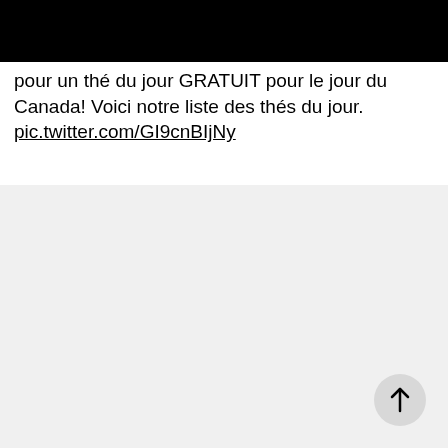[Figure (screenshot): Black bar at the top of the page, partial screenshot of a social media interface]
pour un thé du jour GRATUIT pour le jour du Canada! Voici notre liste des thés du jour. pic.twitter.com/GI9cnBIjNy